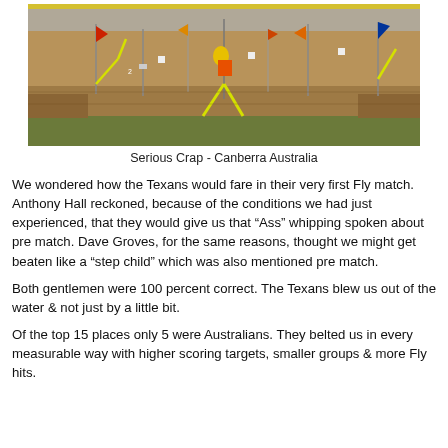[Figure (photo): Wide outdoor shooting range scene in Canberra, Australia. Shows a long dirt berm with multiple colored flags and targets on poles. A person in a bright orange vest is visible near center. Yellow lines/arrows are overlaid on the image marking trajectories. A yellow banner runs along the top.]
Serious Crap - Canberra Australia
We wondered how the Texans would fare in their very first Fly match. Anthony Hall reckoned, because of the conditions we had just experienced, that they would give us that “Ass” whipping spoken about pre match. Dave Groves, for the same reasons, thought we might get beaten like a “step child” which was also mentioned pre match.
Both gentlemen were 100 percent correct. The Texans blew us out of the water & not just by a little bit.
Of the top 15 places only 5 were Australians. They belted us in every measurable way with higher scoring targets, smaller groups & more Fly hits.